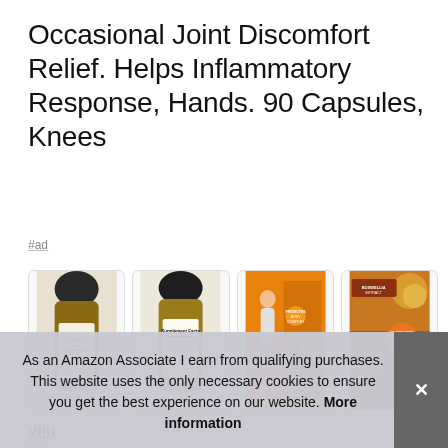Occasional Joint Discomfort Relief. Helps Inflammatory Response, Hands. 90 Capsules, Knees
#ad
[Figure (photo): Four product images of a joint supplement bottle: back label, supplement facts label, orange marketing graphic with benefits listed, and orange ingredient graphic showing Boswellia Extract, Glucosamine Chondroitin MSM, and Turmeric Root Extract]
Vim
is a
build cartilage, boost joint mobility, protect joint tissue and
As an Amazon Associate I earn from qualifying purchases. This website uses the only necessary cookies to ensure you get the best experience on our website. More information